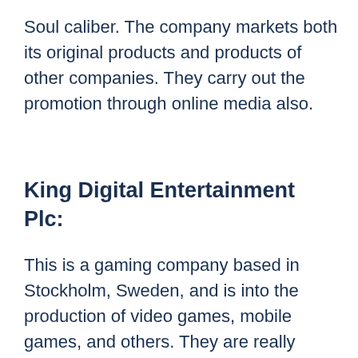Soul caliber. The company markets both its original products and products of other companies. They carry out the promotion through online media also.
King Digital Entertainment Plc:
This is a gaming company based in Stockholm, Sweden, and is into the production of video games, mobile games, and others. They are really famous as they have produced lots of